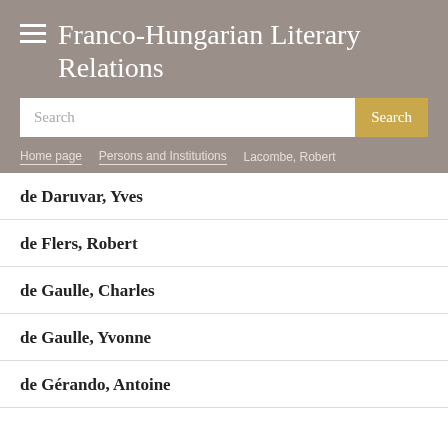Franco-Hungarian Literary Relations
Search
Home page / Persons and Institutions / Lacombe, Robert
de Daruvar, Yves
de Flers, Robert
de Gaulle, Charles
de Gaulle, Yvonne
de Gérando, Antoine